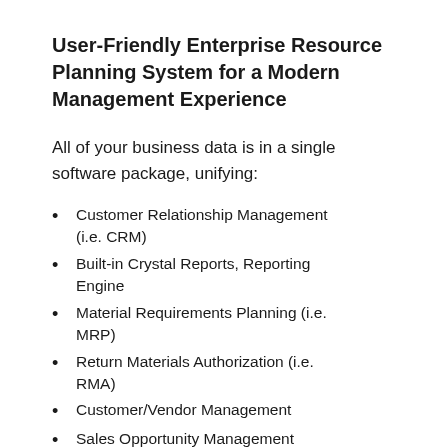User-Friendly Enterprise Resource Planning System for a Modern Management Experience
All of your business data is in a single software package, unifying:
Customer Relationship Management (i.e. CRM)
Built-in Crystal Reports, Reporting Engine
Material Requirements Planning (i.e. MRP)
Return Materials Authorization (i.e. RMA)
Customer/Vendor Management
Sales Opportunity Management